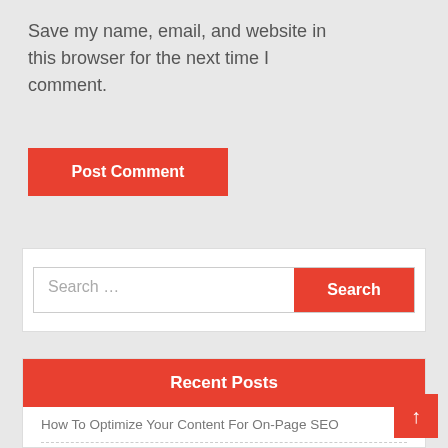Save my name, email, and website in this browser for the next time I comment.
Post Comment
Search ...
Recent Posts
How To Optimize Your Content For On-Page SEO
How Affiliate Programs Are A Great Way To Bring In Mo... Sales With Less Effort